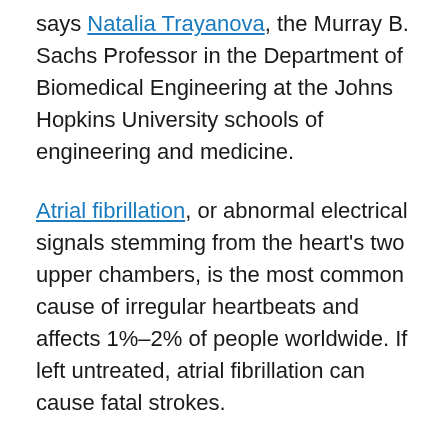says Natalia Trayanova, the Murray B. Sachs Professor in the Department of Biomedical Engineering at the Johns Hopkins University schools of engineering and medicine.
Atrial fibrillation, or abnormal electrical signals stemming from the heart's two upper chambers, is the most common cause of irregular heartbeats and affects 1%–2% of people worldwide. If left untreated, atrial fibrillation can cause fatal strokes.
The typical treatment, called catheter ablation, is to thread a catheter emitting radio frequency into the heart to destroy tissue that sends off erratic electrical signals. However, a subset of patients often have to undergo multiple procedures because abnormal